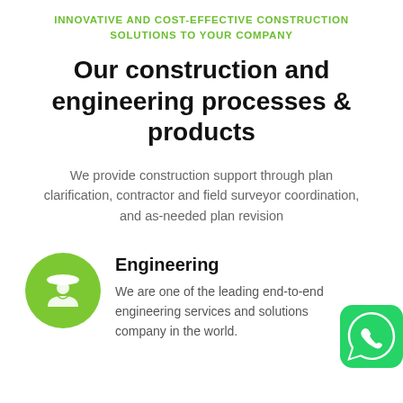INNOVATIVE AND COST-EFFECTIVE CONSTRUCTION SOLUTIONS TO YOUR COMPANY
Our construction and engineering processes & products
We provide construction support through plan clarification, contractor and field surveyor coordination, and as-needed plan revision
[Figure (illustration): Green circle with white hard-hat engineer icon]
Engineering
We are one of the leading end-to-end engineering services and solutions company in the world.
[Figure (logo): WhatsApp green chat bubble logo icon in bottom right corner]